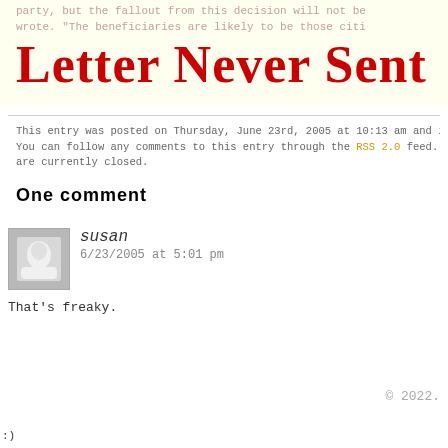party, but the fallout from this decision will not be... wrote. "The beneficiaries are likely to be those citi...
Letter Never Sent
This entry was posted on Thursday, June 23rd, 2005 at 10:13 am and is... You can follow any comments to this entry through the RSS 2.0 feed. B... are currently closed.
One comment
susan
6/23/2005 at 5:01 pm
That's freaky.
© 2022.